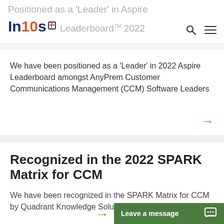Positioned as a ‘Leader’ in Aspire Leaderboard™ 2022
We have been positioned as a ‘Leader’ in 2022 Aspire Leaderboard amongst AnyPrem Customer Communications Management (CCM) Software Leaders
Recognized in the 2022 SPARK Matrix for CCM
We have been recognized in the SPARK Matrix for CCM by Quadrant Knowledge Solutions.